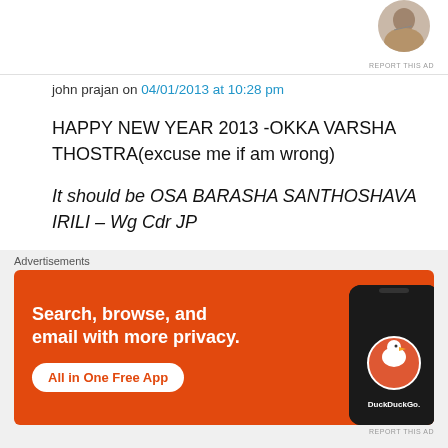[Figure (photo): Partial avatar/profile image at top right, cropped circle showing a person]
REPORT THIS AD
john prajan on 04/01/2013 at 10:28 pm
HAPPY NEW YEAR 2013 -OKKA VARSHA THOSTRA(excuse me if am wrong)
It should be OSA BARASHA SANTHOSHAVA IRILI – Wg Cdr JP
★ Like
↵ Reply
Advertisements
[Figure (screenshot): DuckDuckGo advertisement banner with orange background, text: Search, browse, and email with more privacy. All in One Free App. Shows phone with DuckDuckGo logo.]